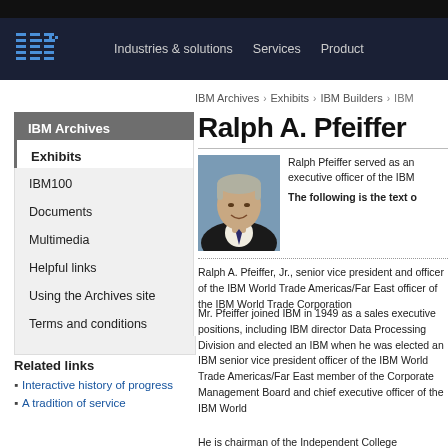IBM | Industries & solutions | Services | Products
IBM Archives > Exhibits > IBM Builders > IBM
Ralph A. Pfeiffer
IBM Archives
Exhibits
IBM100
Documents
Multimedia
Helpful links
Using the Archives site
Terms and conditions
Related links
Interactive history of progress
A tradition of service
[Figure (photo): Portrait photo of Ralph A. Pfeiffer, a man in a suit smiling, with gray hair, against a blue background]
Ralph Pfeiffer served as an executive officer of the IBM
The following is the text o
Ralph A. Pfeiffer, Jr., senior vice president and executive officer of the IBM World Trade Americas/Far East officer of the IBM World Trade Corporation
Mr. Pfeiffer joined IBM in 1949 as a sales executive positions, including IBM director Data Processing Division and elected an IBM when he was elected an IBM senior vice president officer of the IBM World Trade Americas/Far East member of the Corporate Management Board and chief executive officer of the IBM World